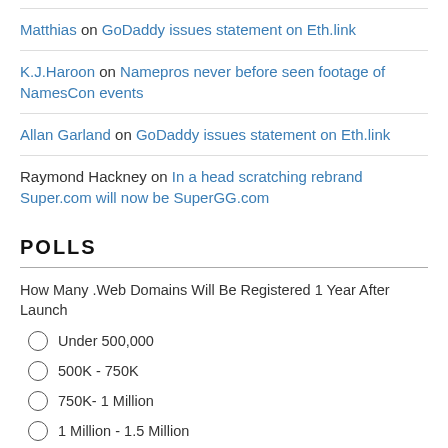Matthias on GoDaddy issues statement on Eth.link
K.J.Haroon on Namepros never before seen footage of NamesCon events
Allan Garland on GoDaddy issues statement on Eth.link
Raymond Hackney on In a head scratching rebrand Super.com will now be SuperGG.com
POLLS
How Many .Web Domains Will Be Registered 1 Year After Launch
Under 500,000
500K - 750K
750K- 1 Million
1 Million - 1.5 Million